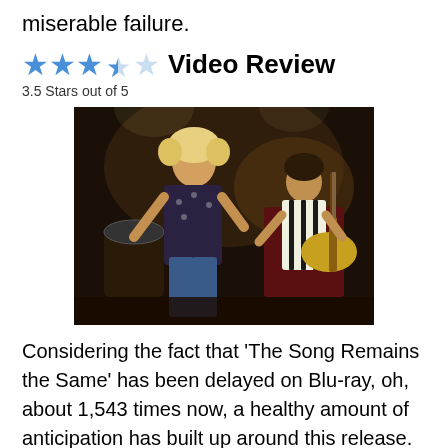miserable failure.
★★★½☆ Video Review
3.5 Stars out of 5
[Figure (photo): Two rock musicians performing on stage. One singer with curly hair in foreground, one guitarist in background with guitar.]
Considering the fact that 'The Song Remains the Same' has been delayed on Blu-ray, oh, about 1,543 times now, a healthy amount of anticipation has built up around this release. After such a long wait, fans will be expecting a top-flight remaster, which this 1080p/VC-1 encode almost achieves. Like the film